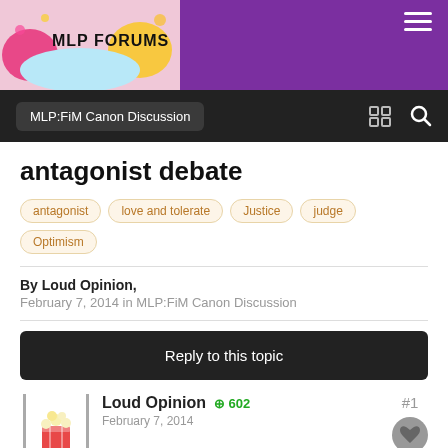[Figure (screenshot): MLP Forums website header banner with logo and purple background]
MLP:FiM Canon Discussion
antagonist debate
antagonist
love and tolerate
Justice
judge
Optimism
By Loud Opinion,
February 7, 2014 in MLP:FiM Canon Discussion
Reply to this topic
Loud Opinion
+ 602
February 7, 2014
#1
I have noticed that a lot of antagonist are very controversial. So feel fr…